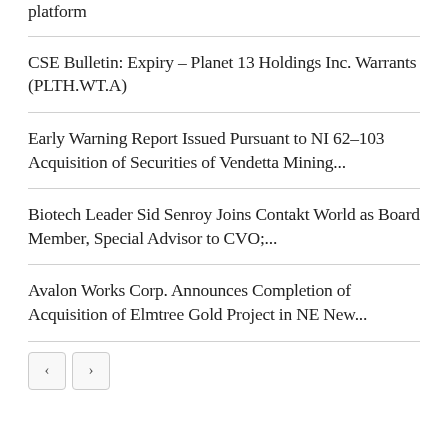platform
CSE Bulletin: Expiry – Planet 13 Holdings Inc. Warrants (PLTH.WT.A)
Early Warning Report Issued Pursuant to NI 62–103 Acquisition of Securities of Vendetta Mining...
Biotech Leader Sid Senroy Joins Contakt World as Board Member, Special Advisor to CVO;...
Avalon Works Corp. Announces Completion of Acquisition of Elmtree Gold Project in NE New...
< >